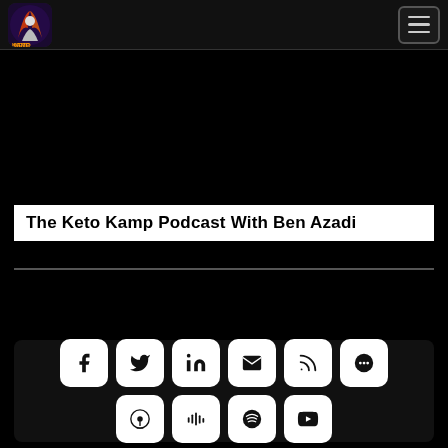[Figure (logo): Keto Kamp logo with person in dark/cosmic style]
The Keto Kamp Podcast With Ben Azadi
[Figure (infographic): Row of social media icon buttons: Facebook, Twitter, LinkedIn, Email, RSS, Castbox, Apple Podcasts, Stitcher, Spotify, YouTube]